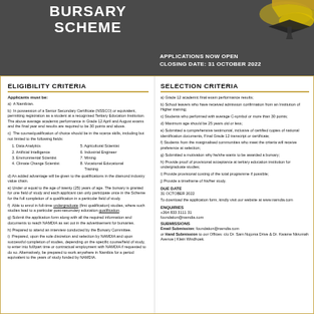BURSARY SCHEME
APPLICATIONS NOW OPEN
CLOSING DATE: 31 OCTOBER 2022
ELIGIBILITY CRITERIA
Applicants must be:
a) A Namibian.
b) In possession of a Senior Secondary Certificate (NSSCO) or equivalent, permitting registration as a student at a recognized Tertiary Education Institution. The above average academic performance in Grade 12 April and August exams and the final year end results are required to be 30 points and above.
c) The course/qualification of choice should be in the scarce skills, including but not limited to the following fields:
1. Data Analytics
2. Artificial Intelligence
3. Environmental Scientist
4. Climate Change Scientist
5. Agricultural Scientist
6. Industrial Engineer
7. Mining
8. Vocational Educational Training
d) An added advantage will be given to the qualifications in the diamond industry value chain.
e) Under or equal to the age of twenty (25) years of age. The bursary is granted for one field of study and each applicant can only participate once in the Scheme for the full completion of a qualification in a particular field of study.
f) Able to enrol in full-time undergraduate (first qualification) studies, where such studies lead to a particular post-secondary education qualification.
g) Submit the application form along with all the required information and documents to reach NAMDIA as set out in the advertisement for bursaries.
h) Prepared to attend an interview conducted by the Bursary Committee.
i) Prepared, upon the sole discretion and selection by NAMDIA and upon successful completion of studies, depending on the specific course/field of study, to enter into full/part time or contractual employment with NAMDIA if requested to do so. Alternatively, be prepared to work anywhere in Namibia for a period equivalent to the years of study funded by NAMDIA.
SELECTION CRITERIA
a) Grade 12 academic final exam performance results;
b) School leavers who have received admission confirmation from an Institution of Higher training;
c) Students who performed with average C-symbol or more than 30 points;
d) Maximum age should be 25 years old or less;
e) Submitted a comprehensive testimonial, inclusive of certified copies of national identification documents, Final Grade 12 transcript or certificate;
f) Students from the marginalised communities who meet the criteria will receive preference at selection;
g) Submitted a motivation why he/she wants to be awarded a bursary;
h) Provide proof of provisional acceptance at tertiary education institution for undergraduate studies;
i) Provide provisional costing of the total programme if possible;
j) Provide a timeframe of his/her study.
DUE DATE
31 OCTOBER 2022
To download the application form, kindly visit our website at www.namdia.com
ENQUIRIES
+264 833 3111 31
foundation@namdia.com
SUBMISSIONS
Email Submission: foundation@namdia.com
or Hand Submission to our Offices: c/o Dr. Sam Nujoma Drive & Dr. Kwame Nkrumah Avenue | Klein Windhoek.